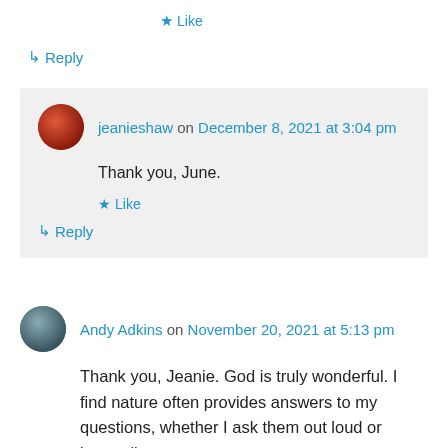★ Like
↳ Reply
jeanieshaw on December 8, 2021 at 3:04 pm
Thank you, June.
★ Like
↳ Reply
Andy Adkins on November 20, 2021 at 5:13 pm
Thank you, Jeanie. God is truly wonderful. I find nature often provides answers to my questions, whether I ask them out loud or internally.